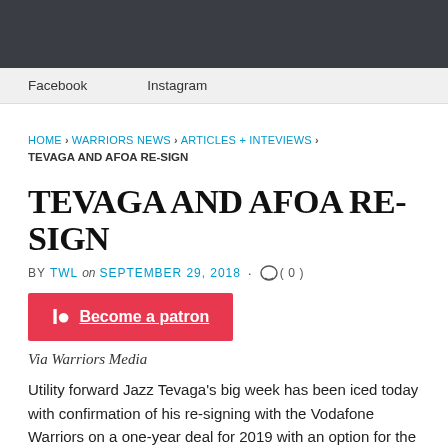Facebook  Instagram
HOME › WARRIORS NEWS › ARTICLES + INTEVIEWS › TEVAGA AND AFOA RE-SIGN
TEVAGA AND AFOA RE-SIGN
BY TWL on SEPTEMBER 29, 2018 · ( 0 )
[Figure (other): Patreon button: Become a patron]
Via Warriors Media
Utility forward Jazz Tevaga's big week has been iced today with confirmation of his re-signing with the Vodafone Warriors on a one-year deal for 2019 with an option for the 2020 NRL season.